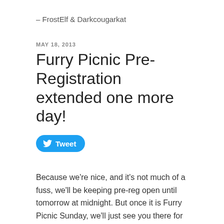– FrostElf & Darkcougarkat
MAY 18, 2013
Furry Picnic Pre-Registration extended one more day!
[Figure (other): Tweet button with Twitter bird logo]
Because we're nice, and it's not much of a fuss, we'll be keeping pre-reg open until tomorrow at midnight. But once it is Furry Picnic Sunday, we'll just see you there for At-The-Door registration!
Oh, don't forget your ID – for everyone, all reg types, 100%! Seriously, we just need to check those ages, and then you can stick it back in your wallet.  We say this a lot,